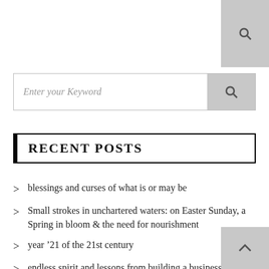[Figure (other): Search icon button in top-right corner, gray background]
[Figure (other): Search input bar with placeholder text 'Enter your Keyword' and search button]
RECENT POSTS
blessings and curses of what is or may be
Small strokes in unchartered waters: on Easter Sunday, a Spring in bloom & the need for nourishment
year '21 of the 21st century
endless spirit and lessons from building a business
[Figure (other): Scroll-to-top button with upward chevron, gray background, bottom-right corner]